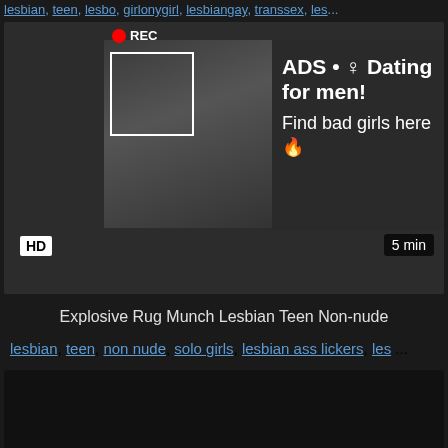lesbian, teen, lesbo, girlonygirl, lesbiangay, transsex, les...
[Figure (screenshot): Video thumbnail with REC badge and ad overlay showing woman taking selfie, with text 'ADS • Dating for men! Find bad girls here']
Explosive Rug Munch Lesbian Teen Non-nude
lesbian, teen, non nude, solo girls, lesbian ass lickers, les...
[Figure (screenshot): Second dark video thumbnail]